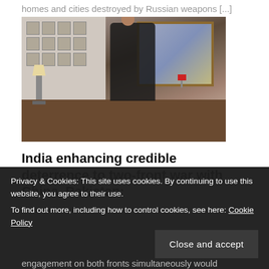homes and cities destroyed by Russian weapons [...]
[Figure (photo): A military officer in dark uniform with medals reading documents, standing at a wooden desk with a large painting behind him and rows of smaller framed photos on the wall]
India enhancing credible deterrence to two-front war with China, Pakistan:
Privacy & Cookies: This site uses cookies. By continuing to use this website, you agree to their use.
To find out more, including how to control cookies, see here: Cookie Policy
engagement on both fronts simultaneously would